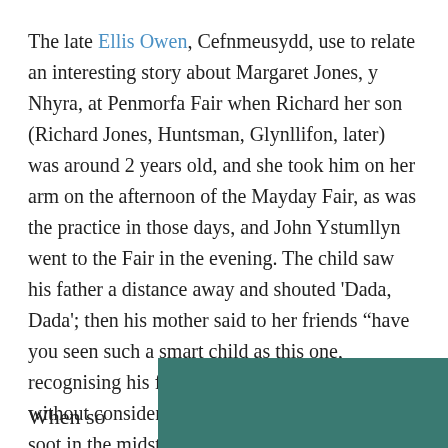The late Ellis Owen, Cefnmeusydd, use to relate an interesting story about Margaret Jones, y Nhyra, at Penmorfa Fair when Richard her son (Richard Jones, Huntsman, Glynllifon, later) was around 2 years old, and she took him on her arm on the afternoon of the Mayday Fair, as was the practice in those days, and John Ystumllyn went to the Fair in the evening. The child saw his father a distance away and shouted ‘Dada, Dada’; then his mother said to her friends “have you seen such a smart child as this one, recognising his father among so many people,” without considering that his father was black as soot in the midst of white people; as the old adage says – “The crow sees its chick as white” (‘Gwyn y gwêl y fran ei chyw’)
When so
[Figure (photo): Partial view of an image with teal/dark green background color, cropped at bottom right of page]